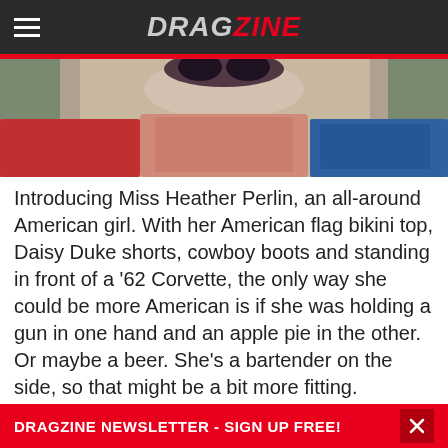DRAGZINE
[Figure (photo): Cropped photo of a woman in a spotted bikini top leaning against a red car outdoors]
Introducing Miss Heather Perlin, an all-around American girl. With her American flag bikini top, Daisy Duke shorts, cowboy boots and standing in front of a '62 Corvette, the only way she could be more American is if she was holding a gun in one hand and an apple pie in the other. Or maybe a beer. She's a bartender on the side, so that might be a bit more fitting.
While Heather was definitely a pretty face, we could see that she wasn't a delicate flower. No, she was tough as nails and could hang with the best of them. We wouldn't be surprised if we found her out in our
DRAGZINE NEWSLETTER - SIGN UP FREE!